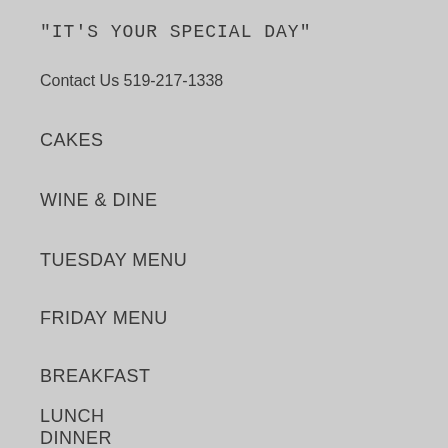"IT'S YOUR SPECIAL DAY"
Contact Us 519-217-1338
CAKES
WINE & DINE
TUESDAY MENU
FRIDAY MENU
BREAKFAST
LUNCH
DINNER